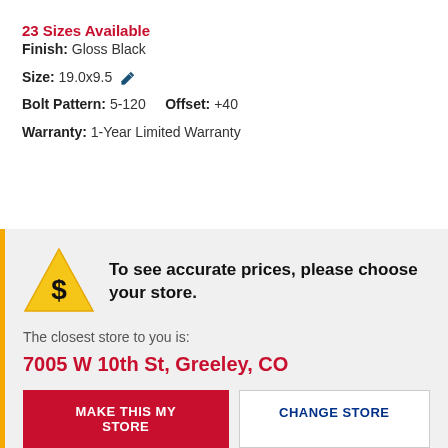23 Sizes Available
Finish: Gloss Black
Size: 19.0x9.5
Bolt Pattern: 5-120    Offset: +40
Warranty: 1-Year Limited Warranty
To see accurate prices, please choose your store.
The closest store to you is:
7005 W 10th St, Greeley, CO
MAKE THIS MY STORE
CHANGE STORE